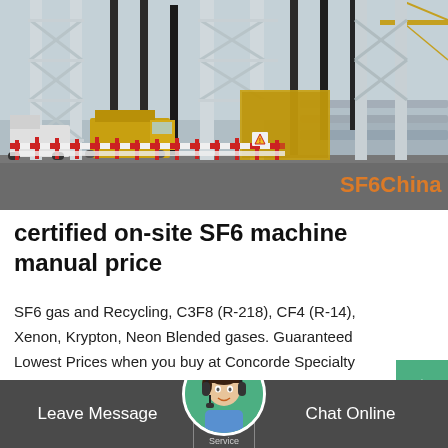[Figure (photo): Industrial electrical substation with tall metal lattice towers and structures, yellow vehicles and crane visible, red and white safety fencing in foreground. 'SF6China' watermark text in orange at bottom right.]
certified on-site SF6 machine manual price
SF6 gas and Recycling, C3F8 (R-218), CF4 (R-14), Xenon, Krypton, Neon Blended gases. Guaranteed Lowest Prices when you buy at Concorde Specialty Gases - Ask about FREE shipping!
Leave Message   [avatar]   Chat Online